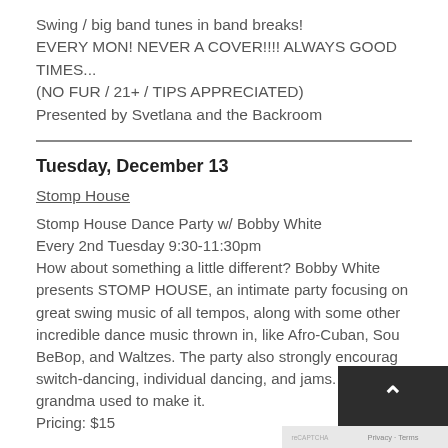Swing / big band tunes in band breaks! EVERY MON! NEVER A COVER!!!! ALWAYS GOOD TIMES... (NO FUR / 21+ / TIPS APPRECIATED) Presented by Svetlana and the Backroom
Tuesday, December 13
Stomp House
Stomp House Dance Party w/ Bobby White
Every 2nd Tuesday 9:30-11:30pm
How about something a little different? Bobby White presents STOMP HOUSE, an intimate party focusing on great swing music of all tempos, along with some other incredible dance music thrown in, like Afro-Cuban, Soul, BeBop, and Waltzes. The party also strongly encourages switch-dancing, individual dancing, and jams. Swing: the way grandma used to make it.
Pricing: $15